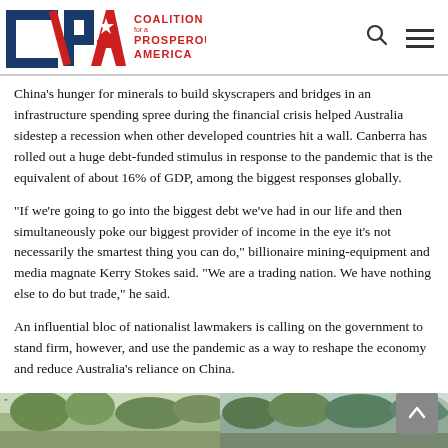Coalition for a Prosperous America
China’s hunger for minerals to build skyscrapers and bridges in an infrastructure spending spree during the financial crisis helped Australia sidestep a recession when other developed countries hit a wall. Canberra has rolled out a huge debt-funded stimulus in response to the pandemic that is the equivalent of about 16% of GDP, among the biggest responses globally.
“If we’re going to go into the biggest debt we’ve had in our life and then simultaneously poke our biggest provider of income in the eye it’s not necessarily the smartest thing you can do,” billionaire mining-equipment and media magnate Kerry Stokes said. “We are a trading nation. We have nothing else to do but trade,” he said.
An influential bloc of nationalist lawmakers is calling on the government to stand firm, however, and use the pandemic as a way to reshape the economy and reduce Australia’s reliance on China.
[Figure (photo): Two partial landscape/outdoor photos cropped at the bottom of the page]